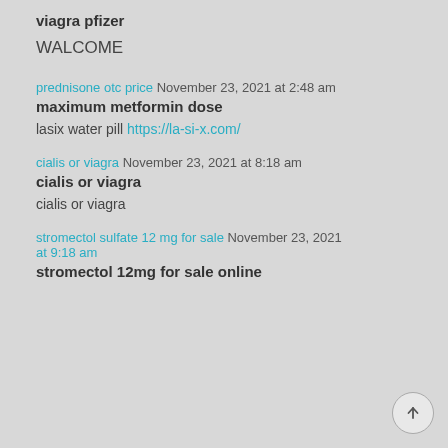viagra pfizer
WALCOME
prednisone otc price November 23, 2021 at 2:48 am
maximum metformin dose

lasix water pill https://la-si-x.com/
cialis or viagra November 23, 2021 at 8:18 am
cialis or viagra

cialis or viagra
stromectol sulfate 12 mg for sale November 23, 2021 at 9:18 am
stromectol 12mg for sale online